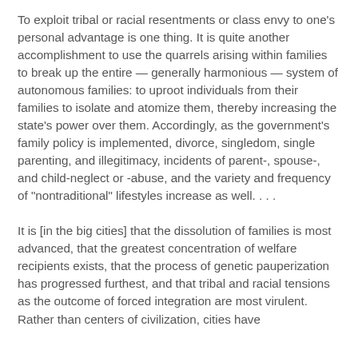To exploit tribal or racial resentments or class envy to one's personal advantage is one thing. It is quite another accomplishment to use the quarrels arising within families to break up the entire — generally harmonious — system of autonomous families: to uproot individuals from their families to isolate and atomize them, thereby increasing the state's power over them. Accordingly, as the government's family policy is implemented, divorce, singledom, single parenting, and illegitimacy, incidents of parent-, spouse-, and child-neglect or -abuse, and the variety and frequency of "nontraditional" lifestyles increase as well. . . .
It is [in the big cities] that the dissolution of families is most advanced, that the greatest concentration of welfare recipients exists, that the process of genetic pauperization has progressed furthest, and that tribal and racial tensions as the outcome of forced integration are most virulent. Rather than centers of civilization, cities have